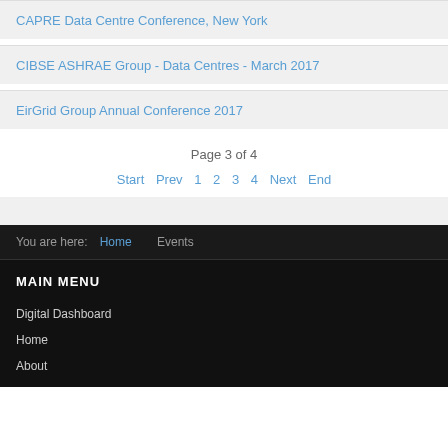CAPRE Data Centre Conference, New York
CIBSE ASHRAE Group - Data Centres - March 2017
EirGrid Group Annual Conference 2017
Page 3 of 4
Start  Prev  1  2  3  4  Next  End
You are here:  Home  Events
MAIN MENU
Digital Dashboard
Home
About